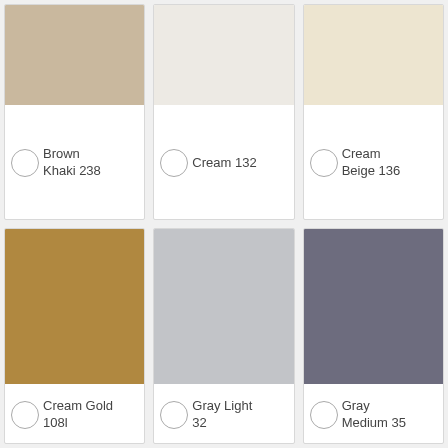[Figure (infographic): Color swatch card for Brown Khaki 238 – a warm taupe/beige color]
[Figure (infographic): Color swatch card for Cream 132 – an off-white cream color]
[Figure (infographic): Color swatch card for Cream Beige 136 – a light warm beige color]
[Figure (infographic): Color swatch card for Cream Gold 108l – a golden tan color]
[Figure (infographic): Color swatch card for Gray Light 32 – a light silver gray color]
[Figure (infographic): Color swatch card for Gray Medium 35 – a medium blue-gray color]